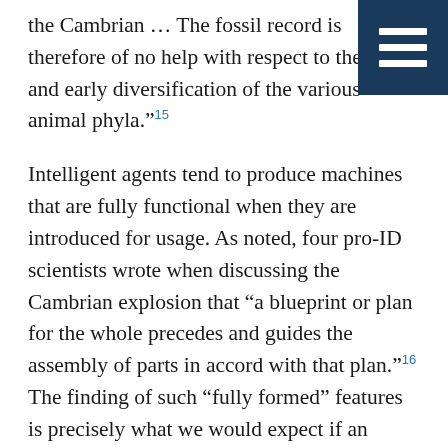the Cambrian … The fossil record is therefore of no help with respect to the origin and early diversification of the various animal phyla.”15
Intelligent agents tend to produce machines that are fully functional when they are introduced for usage. As noted, four pro-ID scientists wrote when discussing the Cambrian explosion that “a blueprint or plan for the whole precedes and guides the assembly of parts in accord with that plan.”16 The finding of such “fully formed” features is precisely what we would expect if an intelligent agent rapidly infused